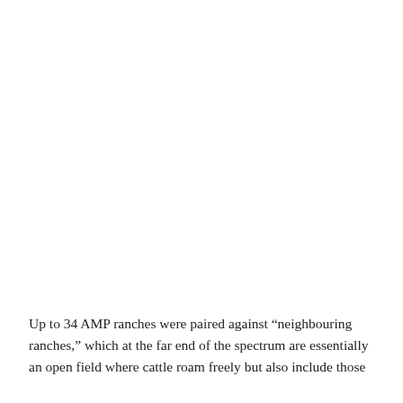Up to 34 AMP ranches were paired against “neighbouring ranches,” which at the far end of the spectrum are essentially an open field where cattle roam freely but also include those